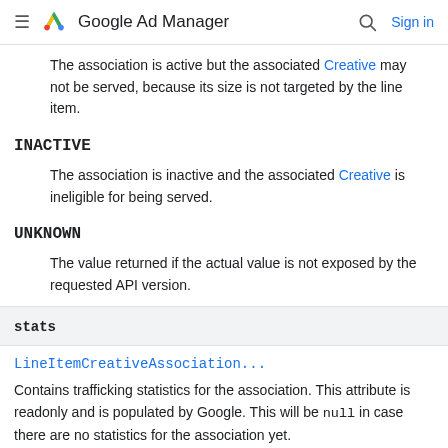Google Ad Manager — Sign in
The association is active but the associated Creative may not be served, because its size is not targeted by the line item.
INACTIVE
The association is inactive and the associated Creative is ineligible for being served.
UNKNOWN
The value returned if the actual value is not exposed by the requested API version.
| stats |
| --- |
LineItemCreativeAssociation...
Contains trafficking statistics for the association. This attribute is readonly and is populated by Google. This will be null in case there are no statistics for the association yet.